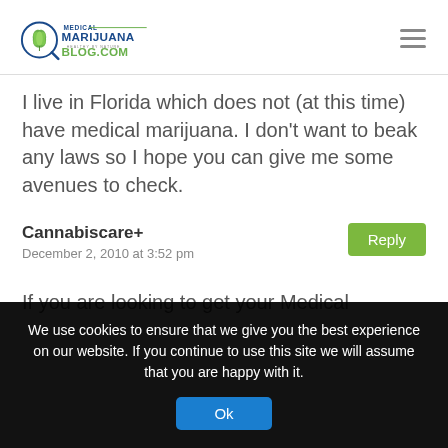[Figure (logo): Medical Marijuana Blog.com logo with cannabis leaf icon and tagline 'Healthy by Nature']
I live in Florida which does not (at this time) have medical marijuana. I don't want to beak any laws so I hope you can give me some avenues to check.
Cannabiscare+
December 2, 2010 at 3:52 pm
If you are looking to get your Medical
We use cookies to ensure that we give you the best experience on our website. If you continue to use this site we will assume that you are happy with it.